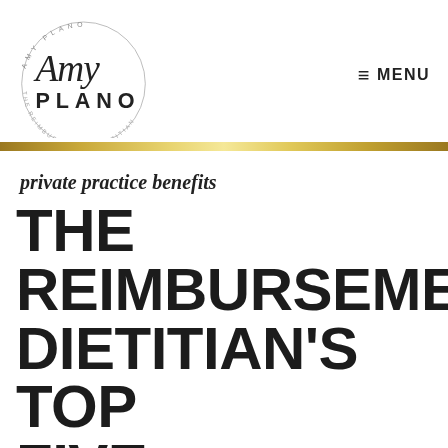[Figure (logo): Amy Plano – The Reimbursement Dietitian circular logo with stylized script signature]
≡ MENU
private practice benefits
THE REIMBURSEMENT DIETITIAN'S TOP FIVE REASONS WHY YOU SHOULD YOU